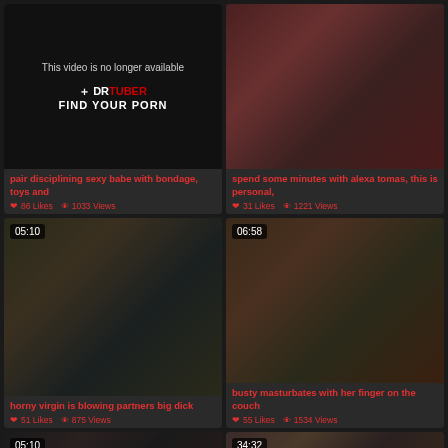[Figure (screenshot): Video thumbnail showing unavailable video with DRTUBER logo on black background]
pair disciplining sexy babe with bondage, toys and
86 Likes  1033 Views
[Figure (screenshot): Video thumbnail showing woman in VR-style split screen]
spend some minutes with alexa tomas, this is personal,
31 Likes  1221 Views
[Figure (screenshot): Video thumbnail 05:10 showing couple on bed]
horny virgin is blowing partners big dick
51 Likes  875 Views
[Figure (screenshot): Video thumbnail 06:58 showing woman on couch]
busty masturbates with her finger on the couch
55 Likes  1534 Views
[Figure (screenshot): Video thumbnail 05:10 partial bottom row]
[Figure (screenshot): Video thumbnail 34:32 partial bottom row]